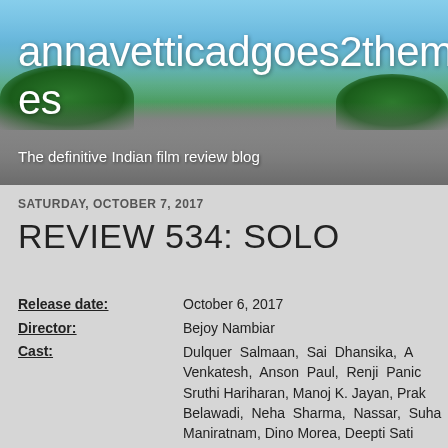annavetticadgoes2themovies
The definitive Indian film review blog
SATURDAY, OCTOBER 7, 2017
REVIEW 534: SOLO
| Field | Value |
| --- | --- |
| Release date: | October 6, 2017 |
| Director: | Bejoy Nambiar |
| Cast: | Dulquer Salmaan, Sai Dhansika, Aaditi Venkatesh, Anson Paul, Renji Panicker, Sruthi Hariharan, Manoj K. Jayan, Prakash Belawadi, Neha Sharma, Nassar, Suhas Maniratnam, Dino Morea, Deepti Sati |
| Language: | Malayalam |